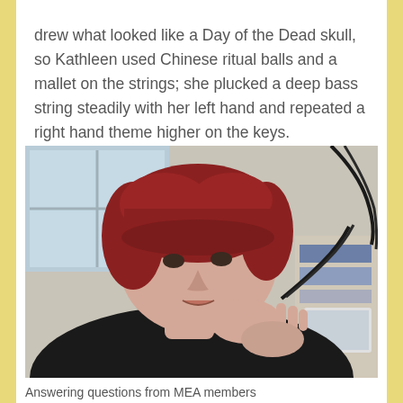drew what looked like a Day of the Dead skull, so Kathleen used Chinese ritual balls and a mallet on the strings; she plucked a deep bass string steadily with her left hand and repeated a right hand theme higher on the keys.
[Figure (photo): A woman with short red hair wearing a black t-shirt, holding what appears to be a cable or cord with both hands, with a window and desk visible in the background.]
Answering questions from MEA members